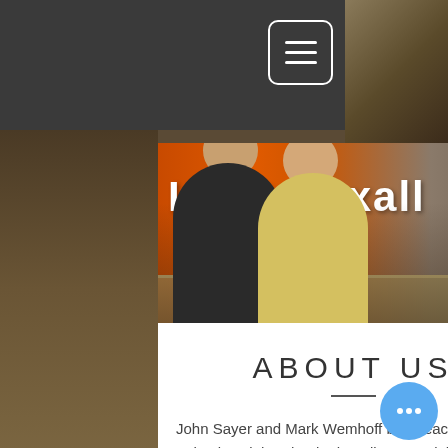[Figure (photo): Screenshot of a website showing an 'About Us' page for a store called Rexall. The top has a dark navigation bar with a hamburger menu icon. Below is a photo of two men (John Sayer and Mark Wemhoff) standing behind a glass display counter inside a store with an orange Rexall sign in the background. Below the photo is the heading 'ABOUT US' with a decorative horizontal line, followed by text beginning 'John Sayer and Mark Wemhoff both teach at Schuyler High School. They discovered they'. A blue circular chat button with three dots is visible in the lower right.]
ABOUT US
John Sayer and Mark Wemhoff both teach at Schuyler High School. They discovered they